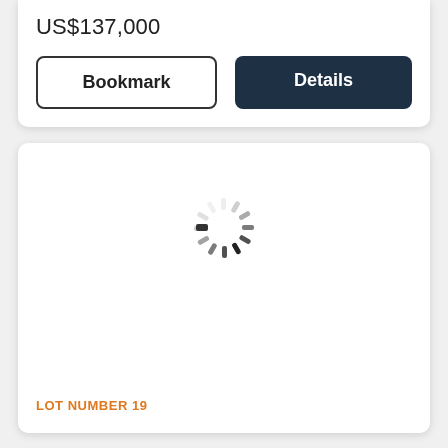US$137,000
Bookmark
Details
[Figure (other): Loading spinner (circular dashed spinner icon indicating content is loading)]
LOT NUMBER 19